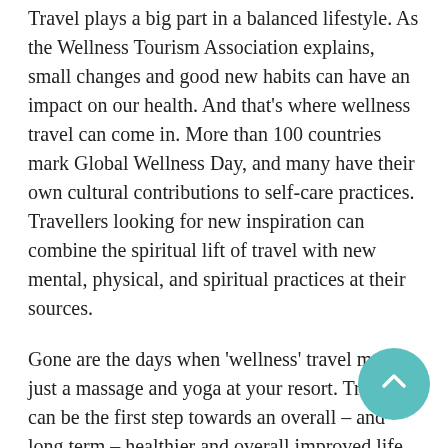Travel plays a big part in a balanced lifestyle. As the Wellness Tourism Association explains, small changes and good new habits can have an impact on our health. And that's where wellness travel can come in. More than 100 countries mark Global Wellness Day, and many have their own cultural contributions to self-care practices. Travellers looking for new inspiration can combine the spiritual lift of travel with new mental, physical, and spiritual practices at their sources.
Gone are the days when 'wellness' travel meant just a massage and yoga at your resort. Travel can be the first step towards an overall – and long term – healthier and overall improved life. In the decade since the origins of Global Wellness Day, the World Tourism Association says new wellness travel have taken root. Here are some to think about when you're planning your next trip – and want to include elements that will ensure you return home better than when you left.